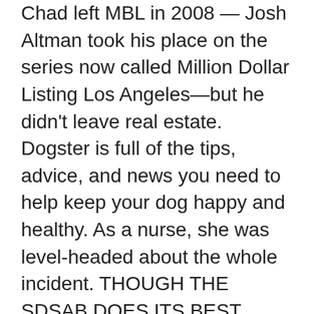Chad left MBL in 2008 — Josh Altman took his place on the series now called Million Dollar Listing Los Angeles—but he didn't leave real estate. Dogster is full of the tips, advice, and news you need to help keep your dog happy and healthy. As a nurse, she was level-headed about the whole incident. THOUGH THE SDSAB DOES ITS BEST, THESE COLUMNS ARE EDITED BY ED ZOTTI, NOT CECIL, SO ACCURACYWISE YOU'D BETTER KEEP … "I don't think I would have made it through that time if Starla wasn't by my side. it's been acting up since last night. Their last performance was in October 2002 in Japan,[8] and the band broke up afterwards. A Dog Bit Me When I Was a Kid — and she escorted us in, telling her colleagues